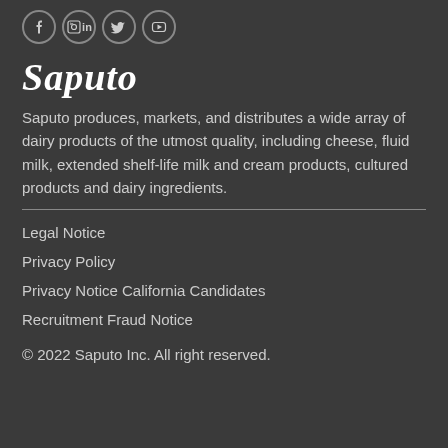[Figure (other): Social media icons: Facebook, LinkedIn, Twitter, YouTube in circular borders]
[Figure (logo): Saputo logo in white italic script font]
Saputo produces, markets, and distributes a wide array of dairy products of the utmost quality, including cheese, fluid milk, extended shelf-life milk and cream products, cultured products and dairy ingredients.
Legal Notice
Privacy Policy
Privacy Notice California Candidates
Recruitment Fraud Notice
© 2022 Saputo Inc. All right reserved.